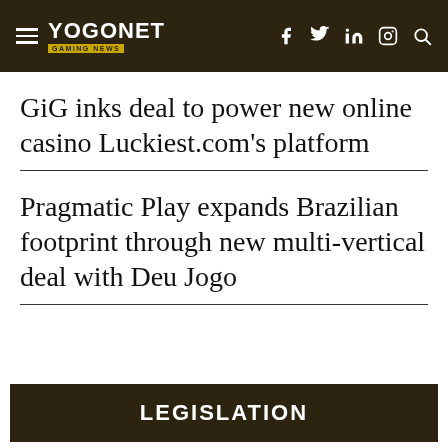YOGONET GAMING NEWS
GiG inks deal to power new online casino Luckiest.com's platform
Pragmatic Play expands Brazilian footprint through new multi-vertical deal with Deu Jogo
LEGISLATION